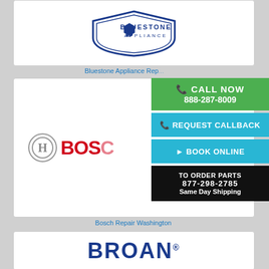[Figure (logo): Bluestone Appliance logo — partial view at top of page]
Bluestone Appliance Rep...
[Figure (logo): Bosch logo — circular badge with H and BOSCH red text]
Bosch Repair Washington
[Figure (infographic): Sidebar with Call Now 888-287-8009, Request Callback, Book Online buttons and To Order Parts 877-298-2785 Same Day Shipping]
[Figure (logo): Broan logo — partial view at bottom of page]